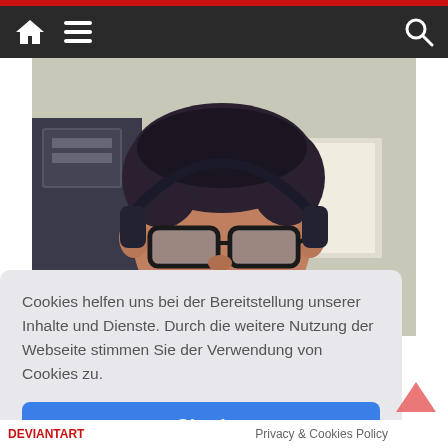[Figure (screenshot): Website screenshot showing navigation bar with home icon, hamburger menu, and search icon on dark background, with a video thumbnail of a man wearing headphones and glasses.]
Cookies helfen uns bei der Bereitstellung unserer Inhalte und Dienste. Durch die weitere Nutzung der Webseite stimmen Sie der Verwendung von Cookies zu.
Okay!
DEVIANTART
Privacy & Cookies Policy